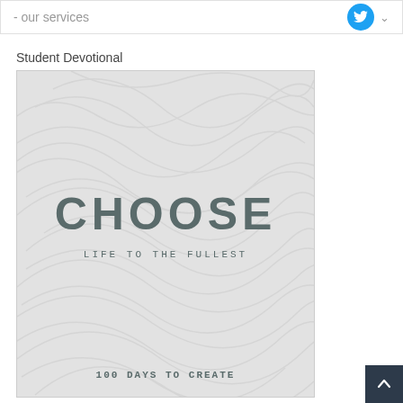- our services
Student Devotional
[Figure (illustration): Book cover image for 'CHOOSE: Life to the Fullest – 100 Days to Create', with light grey textured swirl background and bold dark grey text.]